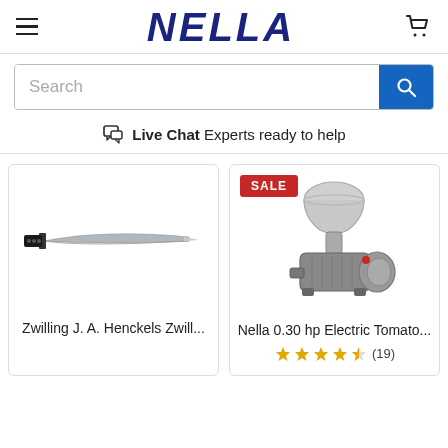NELLA
Live Chat  Experts ready to help
[Figure (screenshot): Product card: Zwilling J. A. Henckels Zwill... — image of a chef's knife]
Zwilling J. A. Henckels Zwill...
[Figure (screenshot): Product card with SALE badge: Nella 0.30 hp Electric Tomato... — image of an electric tomato press machine]
Nella 0.30 hp Electric Tomato...
★★★★½ (19)